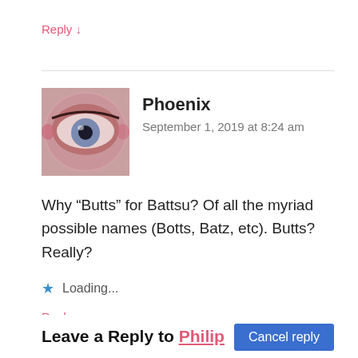Reply ↓
[Figure (photo): Close-up photo of a human eye with reddish/pink hue, serving as user avatar for Phoenix]
Phoenix
September 1, 2019 at 8:24 am
Why “Butts” for Battsu? Of all the myriad possible names (Botts, Batz, etc). Butts? Really?
★ Loading...
Reply ↓
Leave a Reply to Philip  Cancel reply